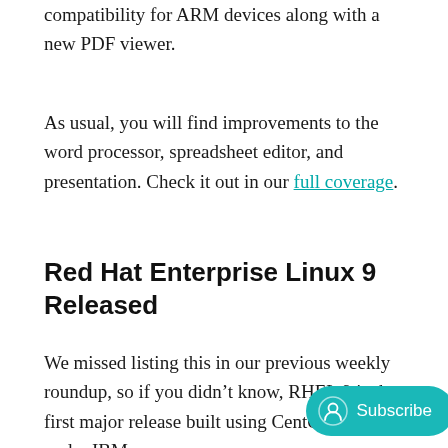compatibility for ARM devices along with a new PDF viewer.
As usual, you will find improvements to the word processor, spreadsheet editor, and presentation. Check it out in our full coverage.
Red Hat Enterprise Linux 9 Released
We missed listing this in our previous weekly roundup, so if you didn't know, RHEL 9 is the first major release built using CentOS Stream under IBM.
There are useful changes with the enterprises. You can get the highlights in our coverage.